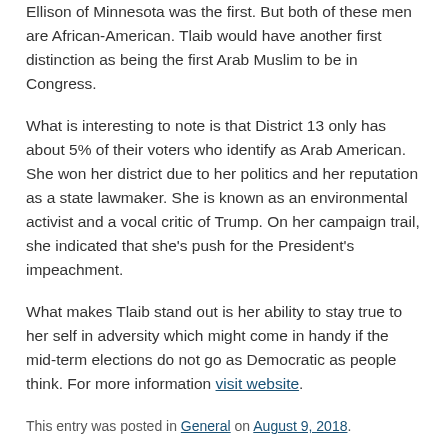Ellison of Minnesota was the first. But both of these men are African-American. Tlaib would have another first distinction as being the first Arab Muslim to be in Congress.
What is interesting to note is that District 13 only has about 5% of their voters who identify as Arab American. She won her district due to her politics and her reputation as a state lawmaker. She is known as an environmental activist and a vocal critic of Trump. On her campaign trail, she indicated that she's push for the President's impeachment.
What makes Tlaib stand out is her ability to stay true to her self in adversity which might come in handy if the mid-term elections do not go as Democratic as people think. For more information visit website.
This entry was posted in General on August 9, 2018.